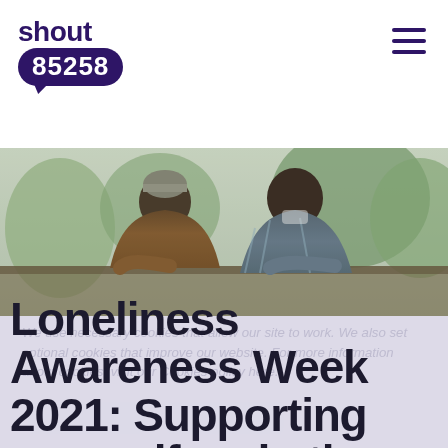shout 85258
[Figure (photo): Two men leaning on a railing outdoors, one wearing a brown jacket and beanie hat, the other in a blue plaid shirt, appearing to have a supportive conversation.]
We use necessary cookies that allow our site to work. We also set optional cookies that improve our website. For more information about cookies, visit our Cookies policy here.
Loneliness Awareness Week 2021: Supporting yourself and others